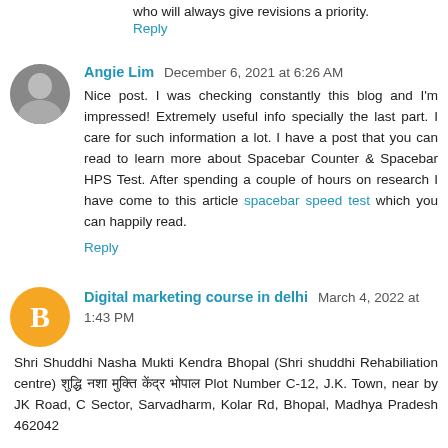who will always give revisions a priority.
Reply
Angie Lim  December 6, 2021 at 6:26 AM
Nice post. I was checking constantly this blog and I'm impressed! Extremely useful info specially the last part. I care for such information a lot. I have a post that you can read to learn more about Spacebar Counter & Spacebar HPS Test. After spending a couple of hours on research I have come to this article spacebar speed test which you can happily read.
Reply
Digital marketing course in delhi  March 4, 2022 at 1:43 PM
Shri Shuddhi Nasha Mukti Kendra Bhopal (Shri shuddhi Rehabiliation centre) शुद्धि नशा मुक्ति केंद्र भोपाल Plot Number C-12, J.K. Town, near by JK Road, C Sector, Sarvadharm, Kolar Rd, Bhopal, Madhya Pradesh 462042